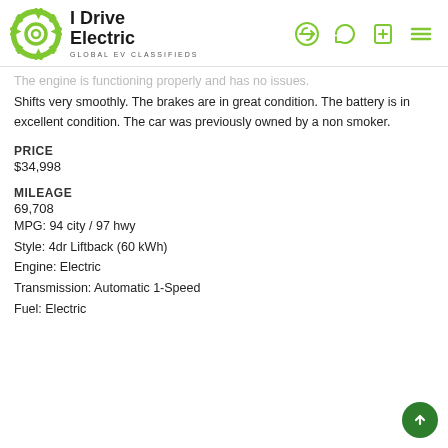I Drive Electric — GLOBAL EV CLASSIFIEDS
The engine is functioning properly and has no issues. Shifts very smoothly. The brakes are in great condition. The battery is in excellent condition. The car was previously owned by a non smoker.
PRICE
$34,998
MILEAGE
69,708
MPG: 94 city / 97 hwy
Style: 4dr Liftback (60 kWh)
Engine: Electric
Transmission: Automatic 1-Speed
Fuel: Electric